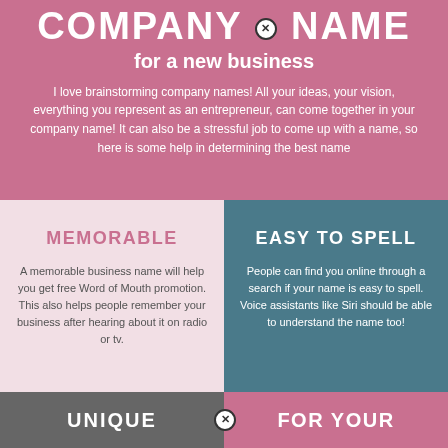COMPANY NAME for a new business
I love brainstorming company names! All your ideas, your vision, everything you represent as an entrepreneur, can come together in your company name! It can also be a stressful job to come up with a name, so here is some help in determining the best name
MEMORABLE
A memorable business name will help you get free Word of Mouth promotion. This also helps people remember your business after hearing about it on radio or tv.
EASY TO SPELL
People can find you online through a search if your name is easy to spell. Voice assistants like Siri should be able to understand the name too!
UNIQUE
FOR YOUR